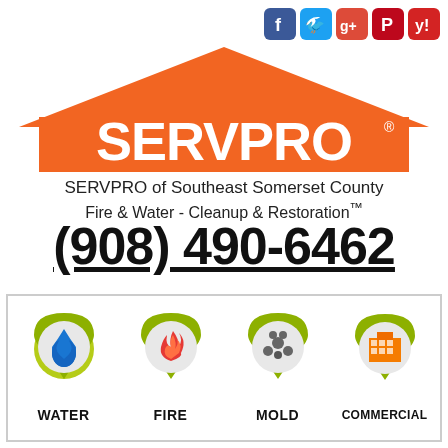[Figure (logo): SERVPRO logo with orange house/roof shape and white SERVPRO text]
SERVPRO of Southeast Somerset County
Fire & Water - Cleanup & Restoration™
(908) 490-6462
[Figure (infographic): REQUEST HELP ONLINE button with green monitor icon and orange text, plus green hamburger menu button]
[Figure (infographic): Four service category icons in a bordered box: WATER (blue water drop), FIRE (red flame), MOLD (grey mold), COMMERCIAL (orange building), each with green map pin style icons]